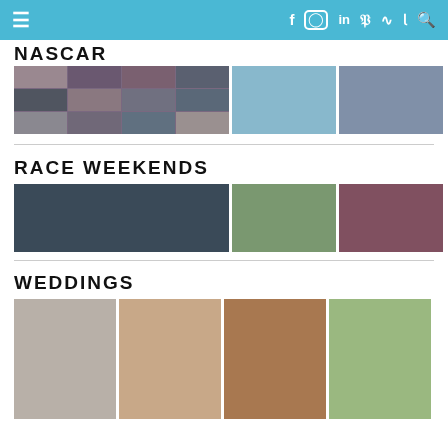Navigation bar with menu icon and social media icons (Facebook, Instagram, LinkedIn, Pinterest, RSS, Twitter, Search)
NASCAR
[Figure (photo): Three NASCAR-related photos: a collage grid of race photos, a driver in sunglasses by a car, and a smiling driver in racing gear]
RACE WEEKENDS
[Figure (photo): Three race weekend photos: a crowd scene with drivers, a pit lane with cars and tents, and a covered spectator area]
WEDDINGS
[Figure (photo): Four wedding photos: a bride and groom portrait, a smiling couple selfie, an outdoor ceremony, and a wedding party group photo]